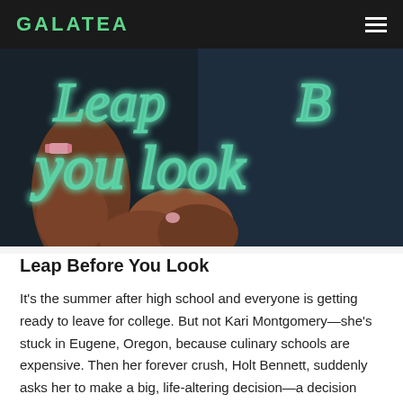GALATEA
[Figure (photo): Close-up photo of hands holding a neon sign that reads 'Leap Before You Look' in glowing teal cursive lettering against a dark background]
Leap Before You Look
It's the summer after high school and everyone is getting ready to leave for college. But not Kari Montgomery—she's stuck in Eugene, Oregon, because culinary schools are expensive. Then her forever crush, Holt Bennett, suddenly asks her to make a big, life-altering decision—a decision